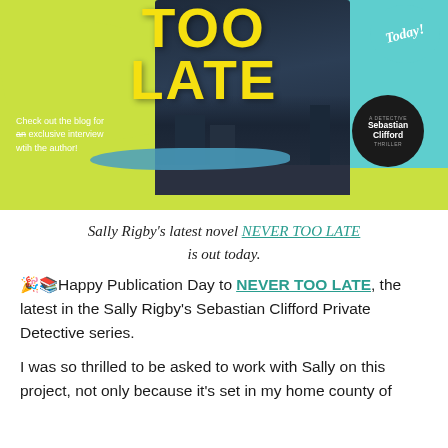[Figure (illustration): Book cover promotional image for 'Never Too Late' by Sally Rigby. Yellow-green and teal background with large yellow title text 'TOO LATE', dark street scene photo, circular author badge reading 'A Detective Sebastian Clifford Thriller', teal bubble saying 'Today!', and text 'Check out the blog for an exclusive interview with the author!']
Sally Rigby's latest novel NEVER TOO LATE is out today.
🎉📚Happy Publication Day to NEVER TOO LATE, the latest in the Sally Rigby's Sebastian Clifford Private Detective series.
I was so thrilled to be asked to work with Sally on this project, not only because it's set in my home county of